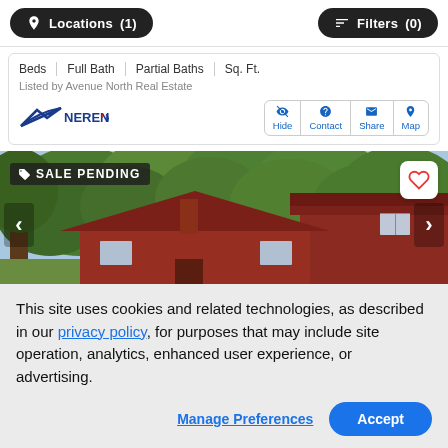Locations (1)   Filters (0)
| Beds | Full Bath | Partial Baths | Sq. Ft. |
| --- | --- | --- | --- |
Listed by Avenue North Real Estate
Hide  Contact  Share  Map
[Figure (photo): Property photo with SALE PENDING badge, showing a red barn-style house surrounded by trees]
This site uses cookies and related technologies, as described in our privacy policy, for purposes that may include site operation, analytics, enhanced user experience, or advertising.
Manage Preferences   Accept